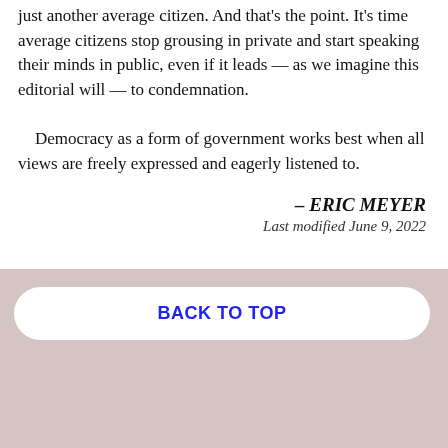just another average citizen. And that's the point. It's time average citizens stop grousing in private and start speaking their minds in public, even if it leads — as we imagine this editorial will — to condemnation.
    Democracy as a form of government works best when all views are freely expressed and eagerly listened to.
– ERIC MEYER
Last modified June 9, 2022
BACK TO TOP